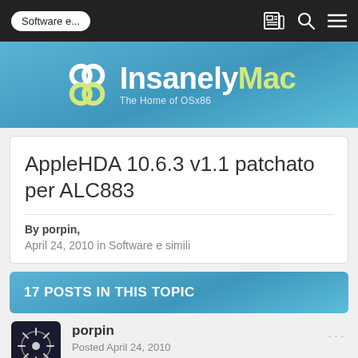Software e...
[Figure (logo): InsanelyMac logo with icon and text 'InsanelyMac - The Home of OSx86']
AppleHDA 10.6.3 v1.1 patchato per ALC883
By porpin,
April 24, 2010 in Software e simili
17 POSTS IN THIS TOPIC
porpin
Posted April 24, 2010